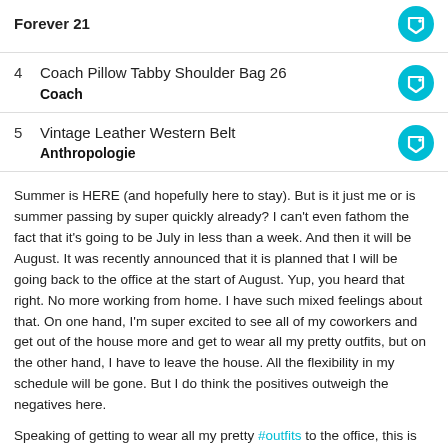Forever 21
4  Coach Pillow Tabby Shoulder Bag 26
Coach
5  Vintage Leather Western Belt
Anthropologie
Summer is HERE (and hopefully here to stay). But is it just me or is summer passing by super quickly already? I can't even fathom the fact that it's going to be July in less than a week. And then it will be August. It was recently announced that it is planned that I will be going back to the office at the start of August. Yup, you heard that right. No more working from home. I have such mixed feelings about that. On one hand, I'm super excited to see all of my coworkers and get out of the house more and get to wear all my pretty outfits, but on the other hand, I have to leave the house. All the flexibility in my schedule will be gone. But I do think the positives outweigh the negatives here.
Speaking of getting to wear all my pretty #outfits to the office, this is definitely one I will be rocking once I'm back (swapping the jeans for dress pants of course). So, it was recently the #clientelesale at #aritzia, meaning everything was either 20% or 25% off. For an Aritzia lover, that's a deadly thing. I tried to stay within a budget, I really did. But dang, there are some super cute pieces right now. And if you combine that with knowing that I will be back in the office in just a mere four weeks, I really couldn't say no to picking up a few new pieces so I can return to the office in style. I'll also